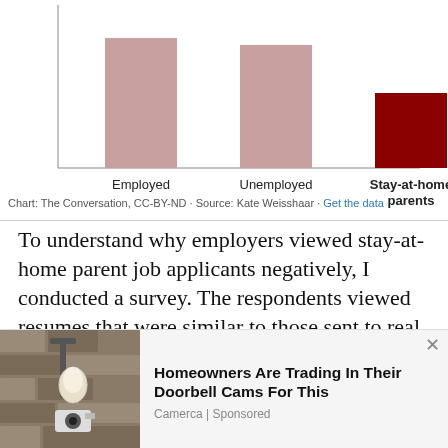[Figure (bar-chart): Callback rates by employment status]
Chart: The Conversation, CC-BY-ND · Source: Kate Weisshaar · Get the data
To understand why employers viewed stay-at-home parent job applicants negatively, I conducted a survey. The respondents viewed resumes that were similar to those sent to real employers.
Many survey respondents perceived both